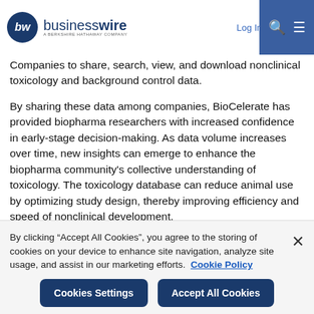businesswire — A BERKSHIRE HATHAWAY COMPANY | Log In | Sign Up
Companies to share, search, view, and download nonclinical toxicology and background control data.
By sharing these data among companies, BioCelerate has provided biopharma researchers with increased confidence in early-stage decision-making. As data volume increases over time, new insights can emerge to enhance the biopharma community's collective understanding of toxicology. The toxicology database can reduce animal use by optimizing study design, thereby improving efficiency and speed of nonclinical development.
By clicking “Accept All Cookies”, you agree to the storing of cookies on your device to enhance site navigation, analyze site usage, and assist in our marketing efforts. Cookie Policy
Cookies Settings | Accept All Cookies